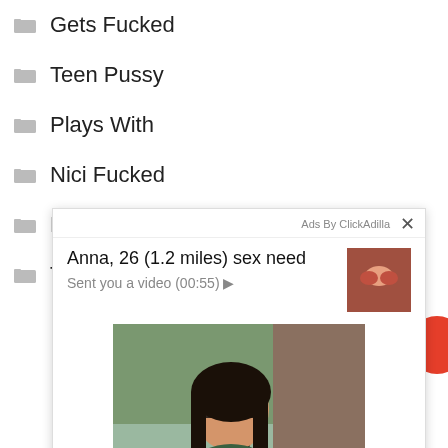Gets Fucked
Teen Pussy
Plays With
Nici Fucked
Homemade Amateur
This Slut
[Figure (screenshot): Advertisement popup from ClickAdilla showing 'Anna, 26 (1.2 miles) sex need' with 'Sent you a video (00:55)' message and a photo of a woman in a car wearing glasses and a green shirt]